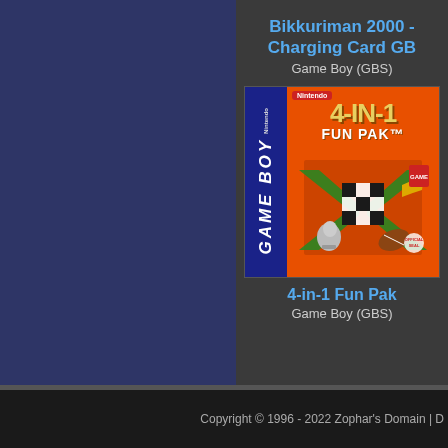[Figure (screenshot): Left blue panel, decorative background for a game music database website]
Bikkuriman 2000 - Charging Card GB
Game Boy (GBS)
[Figure (photo): Game Boy cartridge box art for 4-in-1 Fun Pak, showing chess pieces, checkers, and other game elements on an orange background with Game Boy spine]
4-in-1 Fun Pak
Game Boy (GBS)
Copyright © 1996 - 2022 Zophar's Domain | D